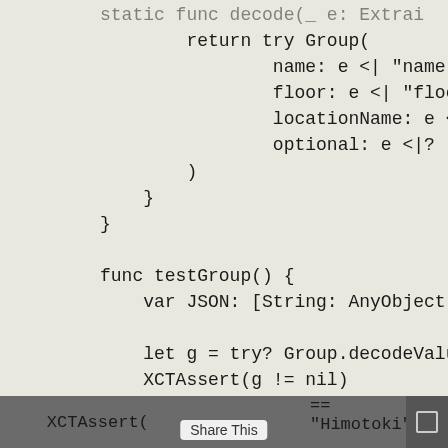static func decode(_ e: Extractor
        return try Group(
                name: e <| "name",
                floor: e <| "floor",
                locationName: e <| [ "lo
                optional: e <|? "optiona
        )
    }
}

func testGroup() {
    var JSON: [String: AnyObject] =

    let g = try? Group.decodeValue(JS
    XCTAssert(g != nil)
    XCTAssert(g.name == "Himotoki")
XCTAssert(g.name == "Himotoki")